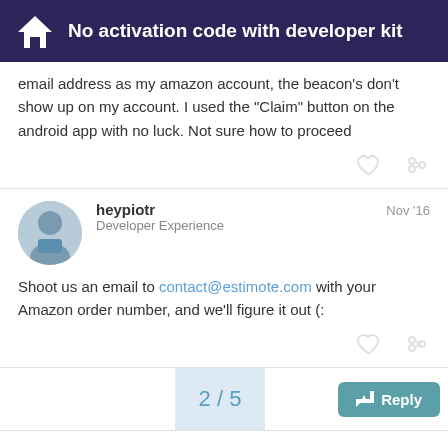No activation code with developer kit
email address as my amazon account, the beacon's don't show up on my account. I used the “Claim” button on the android app with no luck. Not sure how to proceed
heypiotr  Nov '16
Developer Experience
Shoot us an email to contact@estimote.com with your Amazon order number, and we’ll figure it out (:
2 / 5
Reply
Suggested Topics